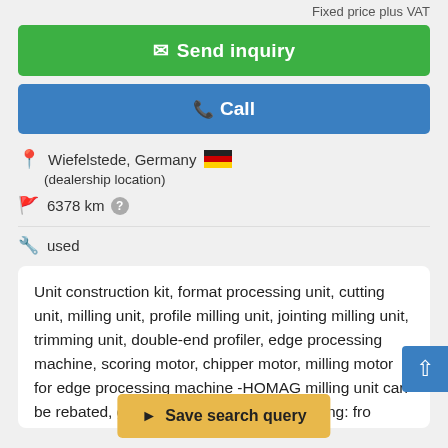Fixed price plus VAT
✉ Send inquiry
📞 Call
Wiefelstede, Germany 🇩🇪
(dealership location)
6378 km ?
used
Unit construction kit, format processing unit, cutting unit, milling unit, profile milling unit, jointing milling unit, trimming unit, double-end profiler, edge processing machine, scoring motor, chipper motor, milling motor for edge processing machine -HOMAG milling unit can be rebated, grooved and profiled -with keying: from ... -2x engines Perske OV8b92nd -Power: 0.6 kW -Voltage: 165 volts -Frequency: 300 Hz -Speed: 18000 rpm -
Save search query